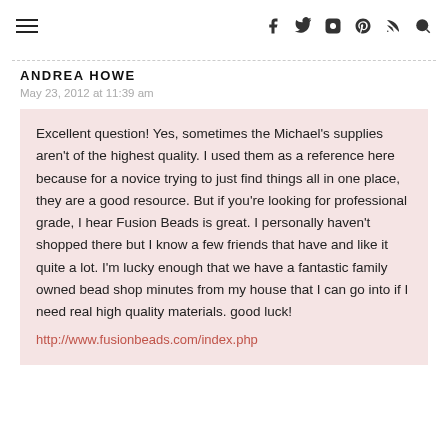≡  f  🐦  📷  𝗽  RSS  🔍
ANDREA HOWE
May 23, 2012 at 11:39 am
Excellent question! Yes, sometimes the Michael's supplies aren't of the highest quality. I used them as a reference here because for a novice trying to just find things all in one place, they are a good resource. But if you're looking for professional grade, I hear Fusion Beads is great. I personally haven't shopped there but I know a few friends that have and like it quite a lot. I'm lucky enough that we have a fantastic family owned bead shop minutes from my house that I can go into if I need real high quality materials. good luck!
http://www.fusionbeads.com/index.php